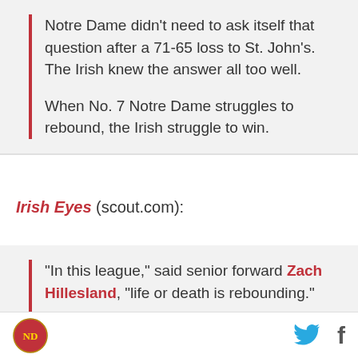Notre Dame didn't need to ask itself that question after a 71-65 loss to St. John's. The Irish knew the answer all too well.

When No. 7 Notre Dame struggles to rebound, the Irish struggle to win.
Irish Eyes (scout.com):
"In this league," said senior forward Zach Hillesland, "life or death is rebounding."

In a startling early-season development, the Irish were mugged in Manhattan by a team that played
[Notre Dame logo] [Twitter icon] [Facebook icon]